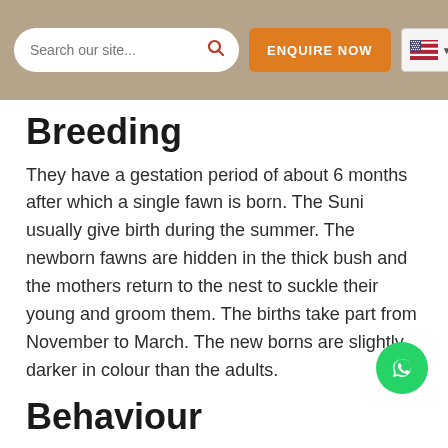[Figure (screenshot): Website header bar with search box, orange ENQUIRE NOW button, and US flag language selector]
Breeding
They have a gestation period of about 6 months after which a single fawn is born. The Suni usually give birth during the summer. The newborn fawns are hidden in the thick bush and the mothers return to the nest to suckle their young and groom them. The births take part from November to March. The new borns are slightly darker in colour than the adults.
Behaviour